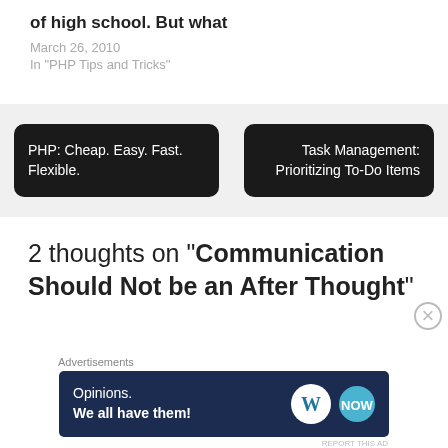of high school. But what
March 26, 2010
In "PHP Tips and Tricks"
PHP: Cheap. Easy. Fast. Flexible.
Task Management: Prioritizing To-Do Items
2 thoughts on “Communication Should Not be an After Thought”
Advertisements
[Figure (infographic): WordPress advertisement banner: Opinions. We all have them! with WordPress and another circular logo]